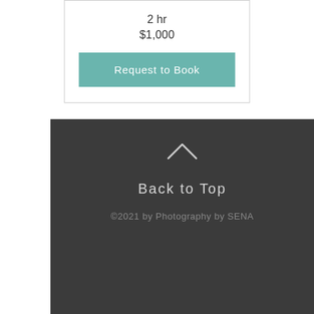2 hr
$1,000
Request to Book
Back to Top
©2021 by Photography by SENA